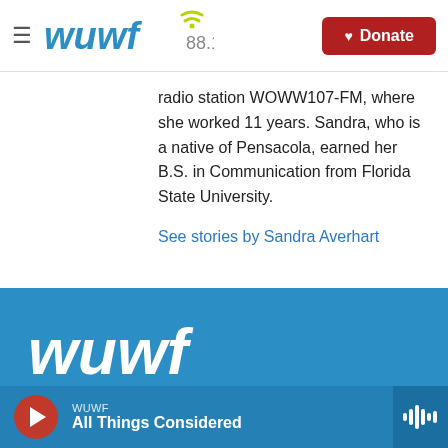WUWF 88.1 — Donate
radio station WOWW107-FM, where she worked 11 years. Sandra, who is a native of Pensacola, earned her B.S. in Communication from Florida State University.
See stories by Sandra Averhart
[Figure (logo): WUWF white logo on blue background in footer]
WUWF — All Things Considered